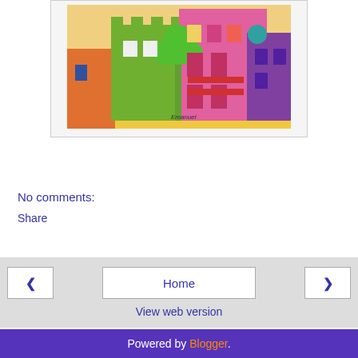[Figure (photo): A colorful hand-painted cylindrical object featuring illustrated buildings, a palm tree, and vibrant city scene in yellows, greens, pinks, purples, and reds. Appears to be folk art pottery or a decorative container.]
No comments:
Share
Home
View web version
Powered by Blogger.